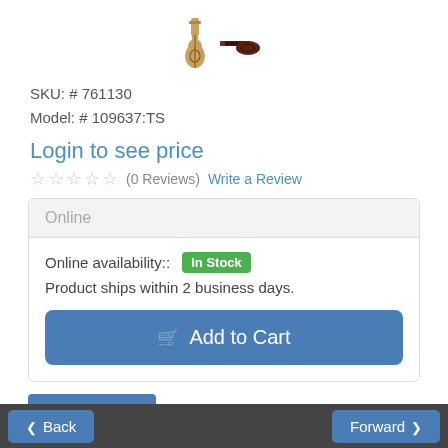[Figure (photo): Two guitar product images: one upright acoustic guitar and one flat/side-view dark guitar]
SKU: # 761130
Model: # 109637:TS
Login to see price
☆☆☆☆☆ (0 Reviews)  Write a Review
Online
Online availability:: In Stock
Product ships within 2 business days.
Add to Cart
Description   Reviews
Back   Forward